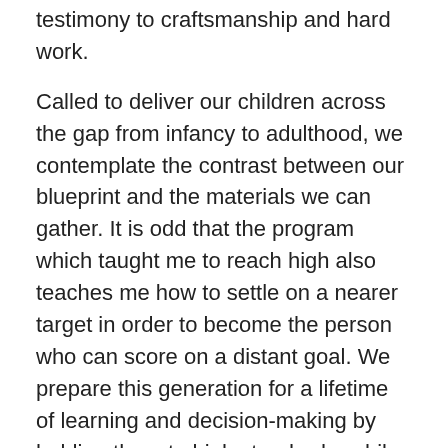testimony to craftsmanship and hard work.
Called to deliver our children across the gap from infancy to adulthood, we contemplate the contrast between our blueprint and the materials we can gather. It is odd that the program which taught me to reach high also teaches me how to settle on a nearer target in order to become the person who can score on a distant goal. We prepare this generation for a lifetime of learning and decision-making by holding them to high standards, while recognizing that humility sometimes calls us to work hard for a lesser goal. The truth is, a true rebuild of the historic bridge with authentic materials may be a goal out of reach. We won't even consider that cheap, ordinary, ugly cement bridge. We may have to settle for a new covered bridge, strong and beautiful though perhaps not the work of an old master of the art. Let us all work hard and wisely to craft a